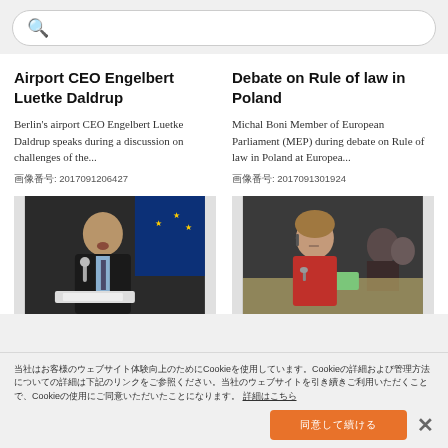検索
Airport CEO Engelbert Luetke Daldrup
Berlin's airport CEO Engelbert Luetke Daldrup speaks during a discussion on challenges of the...
画像番号: 2017091206427
Debate on Rule of law in Poland
Michal Boni Member of European Parliament (MEP) during debate on Rule of law in Poland at Europea...
画像番号: 2017091301924
[Figure (photo): Photo of man speaking at a podium, EU flag in background]
[Figure (photo): Photo of woman in red jacket seated at a conference table]
当社はお客様のウェブサイト体験向上のためにCookieを使用しています。Cookieの詳細および管理方法についての詳細は下記のリンクをご参照ください。当社のウェブサイトを引き続きご利用いただくことで、Cookieの使用にご同意いただいたことになります。 詳細はこちら
同意して続ける